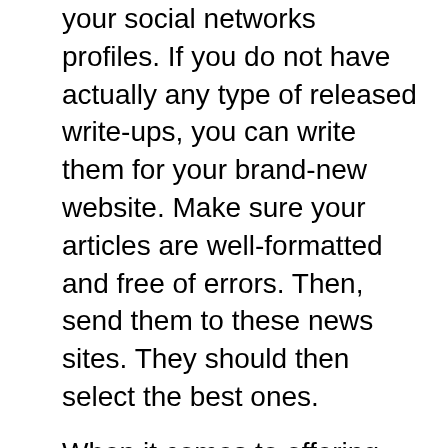your social networks profiles. If you do not have actually any type of released write-ups, you can write them for your brand-new website. Make sure your articles are well-formatted and free of errors. Then, send them to these news sites. They should then select the best ones.
When it comes to offering writing work, journalists must tailor their portfolio to the particular publication. For example, if you are requesting a job in travel, you need to create a travel-focused profile. Furthermore, if you're getting a work in sports, you ought to submit a sports-themed journalism profile. Additionally, you ought to also include instances of your